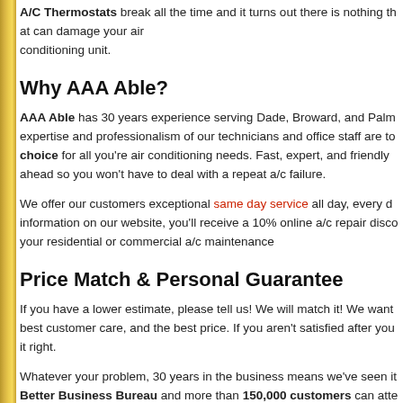A/C Thermostats break all the time and it turns out there is nothing that can damage your air conditioning unit.
Why AAA Able?
AAA Able has 30 years experience serving Dade, Broward, and Palm... expertise and professionalism of our technicians and office staff are to... choice for all you're air conditioning needs. Fast, expert, and friendly ... ahead so you won't have to deal with a repeat a/c failure.
We offer our customers exceptional same day service all day, every d... information on our website, you'll receive a 10% online a/c repair disco... your residential or commercial a/c maintenance
Price Match & Personal Guarantee
If you have a lower estimate, please tell us! We will match it! We want... best customer care, and the best price. If you aren't satisfied after you... it right.
Whatever your problem, 30 years in the business means we've seen it... Better Business Bureau and more than 150,000 customers can atte...